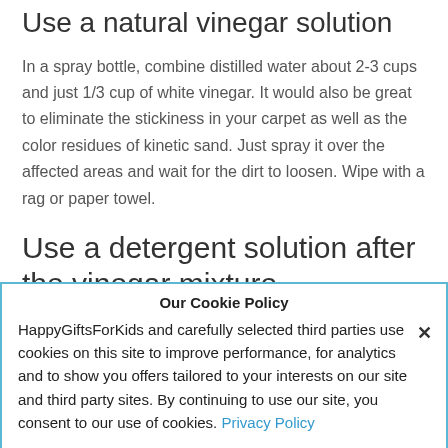Use a natural vinegar solution
In a spray bottle, combine distilled water about 2-3 cups and just 1/3 cup of white vinegar. It would also be great to eliminate the stickiness in your carpet as well as the color residues of kinetic sand. Just spray it over the affected areas and wait for the dirt to loosen. Wipe with a rag or paper towel.
Use a detergent solution after the vinegar mixture
Our Cookie Policy
HappyGiftsForKids and carefully selected third parties use cookies on this site to improve performance, for analytics and to show you offers tailored to your interests on our site and third party sites. By continuing to use our site, you consent to our use of cookies. Privacy Policy